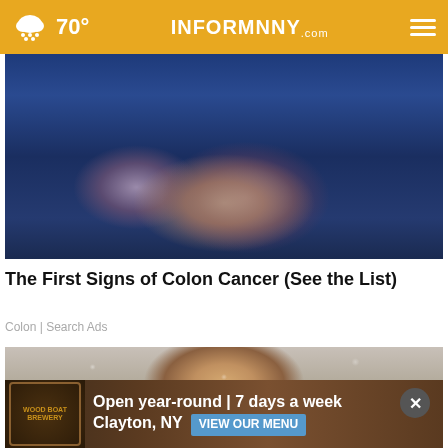70° INFORMNNY.com
[Figure (photo): Close-up photo of a person's lower body in blue jeans with hands crossed behind their back/lower area]
The First Signs of Colon Cancer (See the List)
Colon | Search Ads
[Figure (photo): Close-up photo of a person's face with dry, flaking, crusty skin texture]
[Figure (photo): Wood Boat Brewery advertisement banner: Open year-round | 7 days a week, Clayton, NY, VIEW OUR MENU]